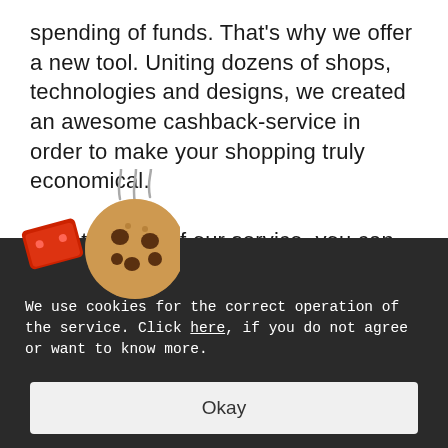spending of funds. That's why we offer a new tool. Uniting dozens of shops, technologies and designs, we created an awesome cashback-service in order to make your shopping truly economical. With the help of our service, you can get up to 40% of the cost of your purchases in dozens of your favorite shops and services back.
[Figure (illustration): Cookie and token illustration with steam rising, shown in dark overlay banner area]
We use cookies for the correct operation of the service. Click here, if you do not agree or want to know more.
Okay